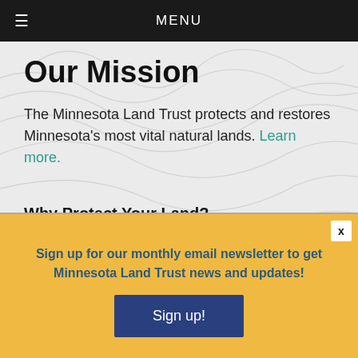≡  MENU
Our Mission
The Minnesota Land Trust protects and restores Minnesota's most vital natural lands. Learn more.
Why Protect Your Land?
Landowner FAQ
Sign up for our monthly email newsletter to get Minnesota Land Trust news and updates!
Sign up!